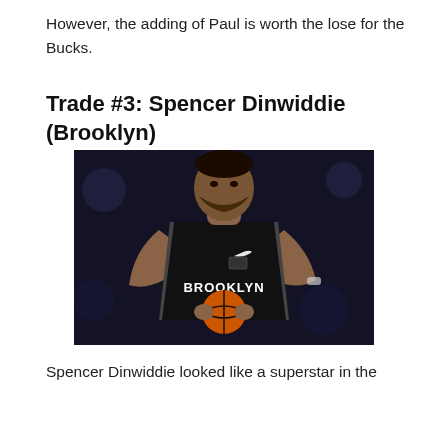However, the adding of Paul is worth the lose for the Bucks.
Trade #3: Spencer Dinwiddie (Brooklyn)
[Figure (photo): Spencer Dinwiddie in a Brooklyn Nets black jersey holding a basketball, with a dark blurred arena background.]
Spencer Dinwiddie looked like a superstar in the